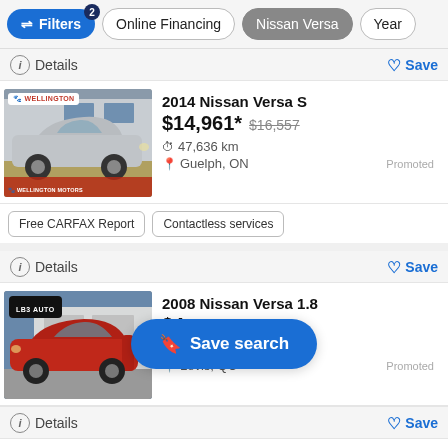Filters (2 active) | Online Financing | Nissan Versa | Year
Details | Save
[Figure (photo): 2014 Nissan Versa S silver car at Wellington Motors dealership]
2014 Nissan Versa S
$14,961* $16,557
47,636 km
Guelph, ON
Promoted
Free CARFAX Report | Contactless services
Details | Save
[Figure (photo): 2008 Nissan Versa 1.8 red car at LB3 Auto dealership]
2008 Nissan Versa 1.8
$4...
89,943 km
Lévis, QC
Promoted
Save search (overlay button)
Details | Save